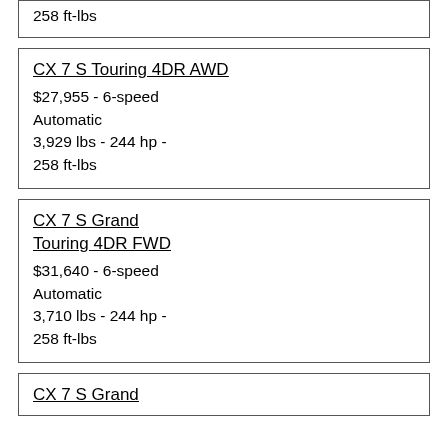258 ft-lbs
CX 7 S Touring 4DR AWD
$27,955 - 6-speed Automatic
3,929 lbs - 244 hp - 258 ft-lbs
CX 7 S Grand Touring 4DR FWD
$31,640 - 6-speed Automatic
3,710 lbs - 244 hp - 258 ft-lbs
CX 7 S Grand